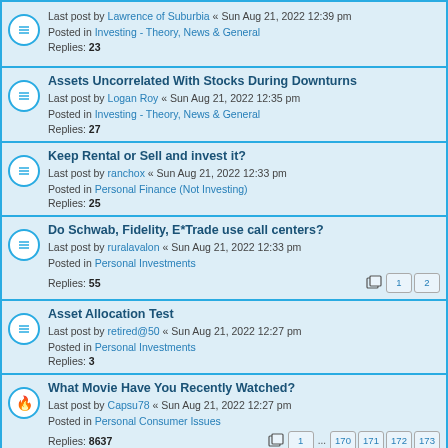Last post by Lawrence of Suburbia « Sun Aug 21, 2022 12:39 pm
Posted in Investing - Theory, News & General
Replies: 23
Assets Uncorrelated With Stocks During Downturns
Last post by Logan Roy « Sun Aug 21, 2022 12:35 pm
Posted in Investing - Theory, News & General
Replies: 27
Keep Rental or Sell and invest it?
Last post by ranchox « Sun Aug 21, 2022 12:33 pm
Posted in Personal Finance (Not Investing)
Replies: 25
Do Schwab, Fidelity, E*Trade use call centers?
Last post by ruralavalon « Sun Aug 21, 2022 12:33 pm
Posted in Personal Investments
Replies: 55
Pages: 1 2
Asset Allocation Test
Last post by retired@50 « Sun Aug 21, 2022 12:27 pm
Posted in Personal Investments
Replies: 3
What Movie Have You Recently Watched?
Last post by Capsu78 « Sun Aug 21, 2022 12:27 pm
Posted in Personal Consumer Issues
Replies: 8637
Pages: 1 ... 170 171 172 173
Search found 809 matches
Pages: 1 2 3 4 5 ... 17